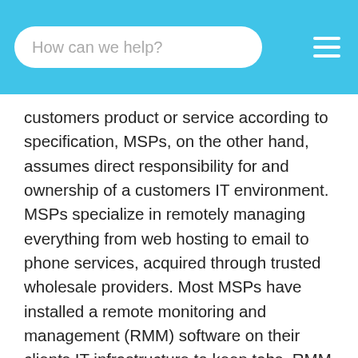How can we help?
customers product or service according to specification, MSPs, on the other hand, assumes direct responsibility for and ownership of a customers IT environment. MSPs specialize in remotely managing everything from web hosting to email to phone services, acquired through trusted wholesale providers. Most MSPs have installed a remote monitoring and management (RMM) software on their clients IT infrastructure to keep tabs. RMM software enables the MSP to remotely troubleshoot and fix any arising issues with the clients servers and endpoint devices. RMM enables MSPs to manage numerous customers' IT systems simultaneously.Also, MSPs may also code an automated scripts to handle routine systems administration tasks, such as automatically checking hard disks for errors without human intervention. Therefore, MSPs include, but are not MSP expert of their